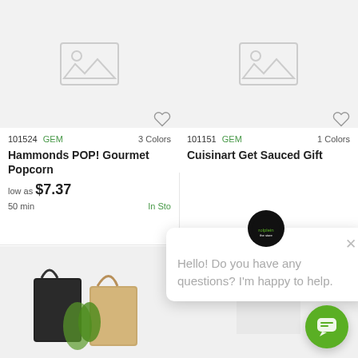[Figure (screenshot): E-commerce product listing page showing two product cards and a chat popup overlay. Left card: Hammonds POP! Gourmet Popcorn, SKU 101524, GEM, 3 Colors, low as $7.37, 50 min, In Stock. Right card: Cuisinart Get Sauced Gift (truncated), SKU 101151, GEM, 1 Colors. Chat popup: 'Hello! Do you have any questions? I'm happy to help.' Bottom row shows two more product images partially visible.]